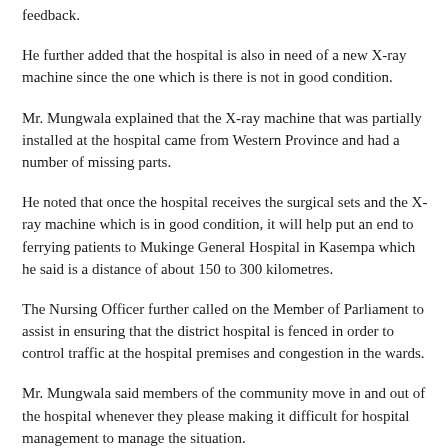feedback.
He further added that the hospital is also in need of a new X-ray machine since the one which is there is not in good condition.
Mr. Mungwala explained that the X-ray machine that was partially installed at the hospital came from Western Province and had a number of missing parts.
He noted that once the hospital receives the surgical sets and the X-ray machine which is in good condition, it will help put an end to ferrying patients to Mukinge General Hospital in Kasempa which he said is a distance of about 150 to 300 kilometres.
The Nursing Officer further called on the Member of Parliament to assist in ensuring that the district hospital is fenced in order to control traffic at the hospital premises and congestion in the wards.
Mr. Mungwala said members of the community move in and out of the hospital whenever they please making it difficult for hospital management to manage the situation.